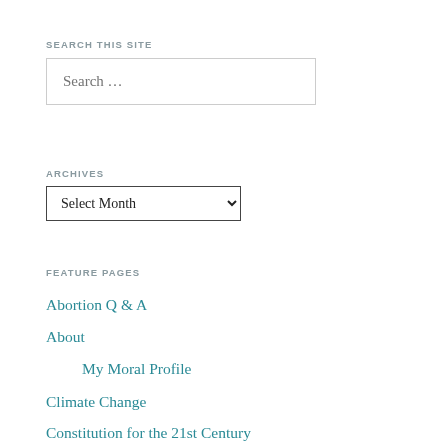SEARCH THIS SITE
[Figure (screenshot): Search input box with placeholder text 'Search ...']
ARCHIVES
[Figure (screenshot): Dropdown select box with 'Select Month' option]
FEATURE PAGES
Abortion Q & A
About
My Moral Profile
Climate Change
Constitution for the 21st Century
Constitution: Myths and Realities